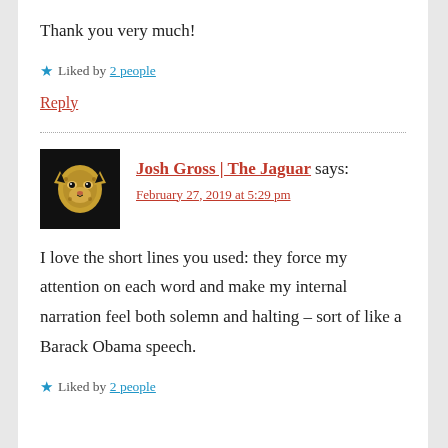Thank you very much!
★ Liked by 2 people
Reply
Josh Gross | The Jaguar says:
February 27, 2019 at 5:29 pm
I love the short lines you used: they force my attention on each word and make my internal narration feel both solemn and halting – sort of like a Barack Obama speech.
★ Liked by 2 people